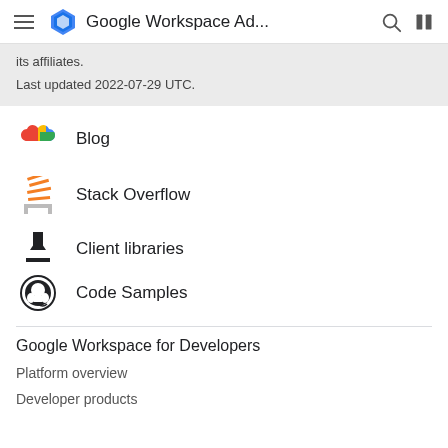Google Workspace Ad...
its affiliates.
Last updated 2022-07-29 UTC.
Blog
Stack Overflow
Client libraries
Code Samples
Google Workspace for Developers
Platform overview
Developer products